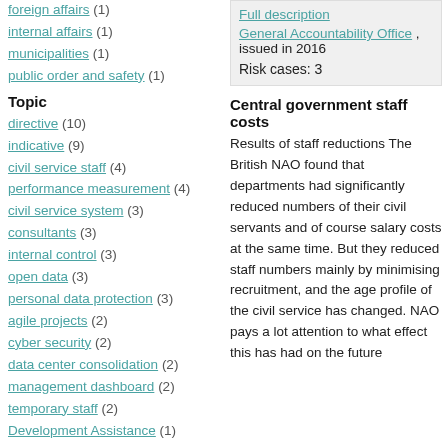foreign affairs (1)
internal affairs (1)
municipalities (1)
public order and safety (1)
Topic
directive (10)
indicative (9)
civil service staff (4)
performance measurement (4)
civil service system (3)
consultants (3)
internal control (3)
open data (3)
personal data protection (3)
agile projects (2)
cyber security (2)
data center consolidation (2)
management dashboard (2)
temporary staff (2)
Development Assistance (1)
ICT infractructure (1)
data centers (1)
data protection (1)
Full description
General Accountability Office , issued in 2016
Risk cases: 3
Central government staff costs
Results of staff reductions The British NAO found that departments had significantly reduced numbers of their civil servants and of course salary costs at the same time. But they reduced staff numbers mainly by minimising recruitment, and the age profile of the civil service has changed. NAO pays a lot attention to what effect this has had on the future